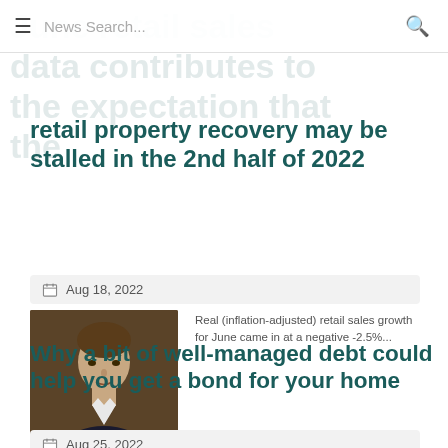News Search...
retail property recovery may be stalled in the 2nd half of 2022
Aug 18, 2022
[Figure (photo): Headshot of a man in a dark suit jacket]
Real (inflation-adjusted) retail sales growth for June came in at a negative -2.5%...
Why a bit of well-managed debt could help you get a bond for your home
Aug 25, 2022